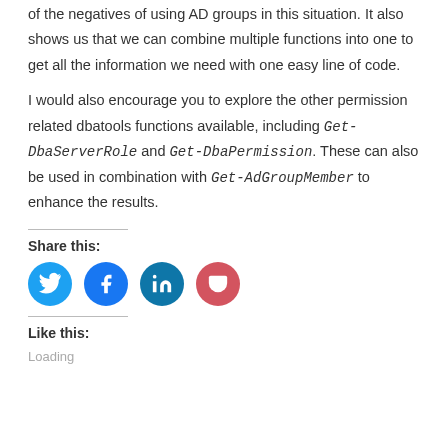of the negatives of using AD groups in this situation. It also shows us that we can combine multiple functions into one to get all the information we need with one easy line of code.
I would also encourage you to explore the other permission related dbatools functions available, including Get-DbaServerRole and Get-DbaPermission. These can also be used in combination with Get-AdGroupMember to enhance the results.
[Figure (infographic): Share this: section with four circular social media icon buttons for Twitter (blue), Facebook (dark blue), LinkedIn (teal), and Pocket (red/pink)]
Like this:
Loading